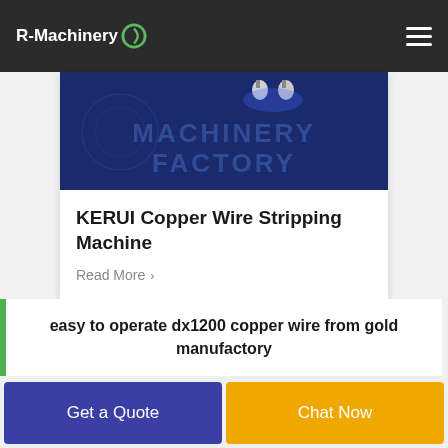R-Machinery
[Figure (photo): Dark blue banner showing a machinery factory with overhead lights and text 'MACHINERY FACTORY']
KERUI Copper Wire Stripping Machine
Read More >
easy to operate dx1200 copper wire from gold manufactory
Get a Quote
Chat Now